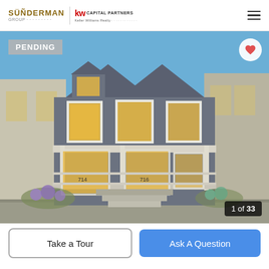Sunderman Group | KW Capital Partners
[Figure (photo): Exterior photo of a two-story Victorian-style duplex with gray siding, white trim, front porch, lit windows, and front yard landscaping. Badge reads PENDING. Image counter: 1 of 33.]
PENDING
1 of 33
Take a Tour
Ask A Question